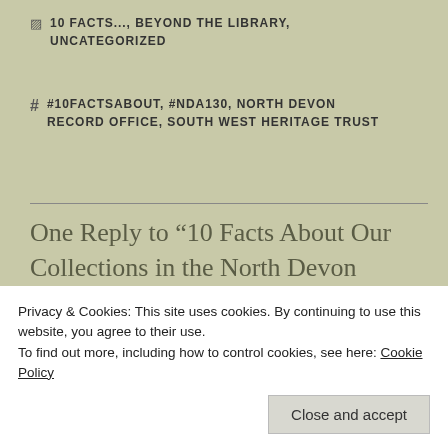10 FACTS..., BEYOND THE LIBRARY, UNCATEGORIZED
#10FACTSABOUT, #NDA130, NORTH DEVON RECORD OFFICE, SOUTH WEST HERITAGE TRUST
One Reply to “10 Facts About Our Collections in the North Devon Record Office”
Pingback: 5 Posts about Our Archive Collections
Tales From the Archives
Privacy & Cookies: This site uses cookies. By continuing to use this website, you agree to their use.
To find out more, including how to control cookies, see here: Cookie Policy
Close and accept